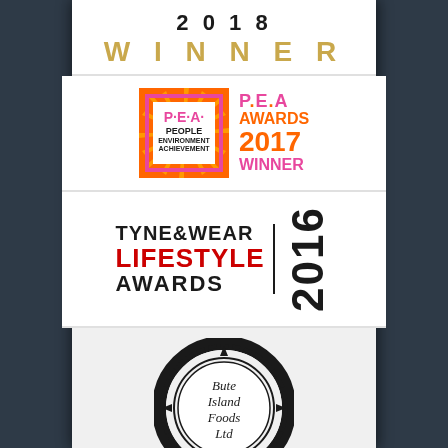[Figure (logo): 2018 WINNER award badge with gold lettering]
[Figure (logo): P.E.A Awards 2017 Winner logo — People Environment Achievement, pink and orange]
[Figure (logo): Tyne & Wear Lifestyle Awards 2016 logo — black and red text]
[Figure (logo): Bute Island Foods Ltd circular Celtic knotwork logo]